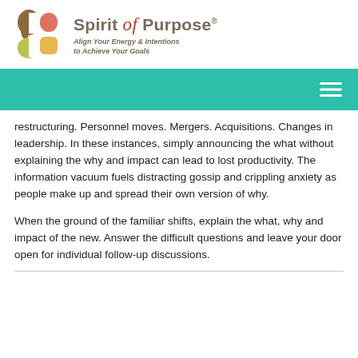[Figure (logo): Spirit of Purpose logo with stylized S-shape in brown/salmon/yellow-green colors and text 'Spirit of Purpose' with tagline 'Align Your Energy & Intentions to Achieve Your Goals']
[Figure (other): Teal/green navigation bar with white hamburger menu icon on right]
restructuring. Personnel moves. Mergers. Acquisitions. Changes in leadership. In these instances, simply announcing the what without explaining the why and impact can lead to lost productivity. The information vacuum fuels distracting gossip and crippling anxiety as people make up and spread their own version of why.
When the ground of the familiar shifts, explain the what, why and impact of the new. Answer the difficult questions and leave your door open for individual follow-up discussions.